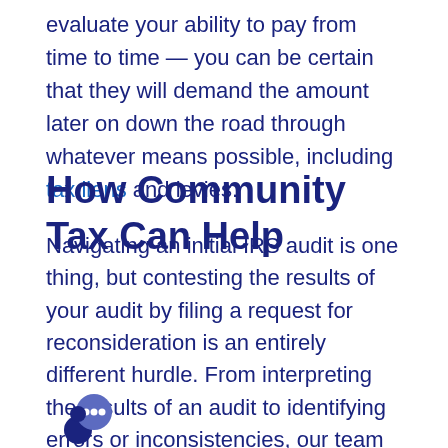evaluate your ability to pay from time to time — you can be certain that they will demand the amount later on down the road through whatever means possible, including tax liens and levies.
How Community Tax Can Help
Navigating an initial IRS audit is one thing, but contesting the results of your audit by filing a request for reconsideration is an entirely different hurdle. From interpreting the results of an audit to identifying errors or inconsistencies, our team is here to help every step of the way. Once we've had a chance to review the initial audit results, we can do a deep-dive to locate new information that